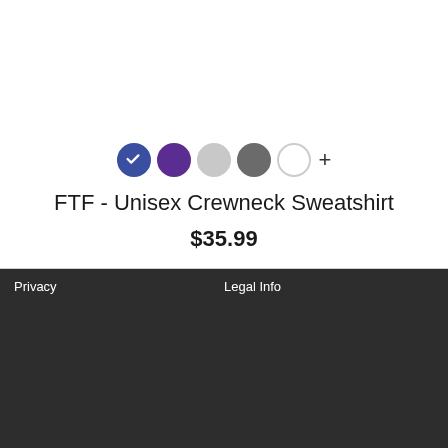[Figure (other): Color swatches row: blue (selected with checkmark), purple, light gray, dark gray, white, plus sign]
FTF - Unisex Crewneck Sweatshirt
$35.99
Privacy
Legal Info
We use cookies
Got It
United States
Click here to see a list of the categories of personal information we collect and what we use them for ("Notice at Collection").
Help
Shipping costs and shipping times
Privacy Policy
Do Not Sell My Personal Information
By using this website, I agree to the Terms and Conditions
service@aspreadshirt.com